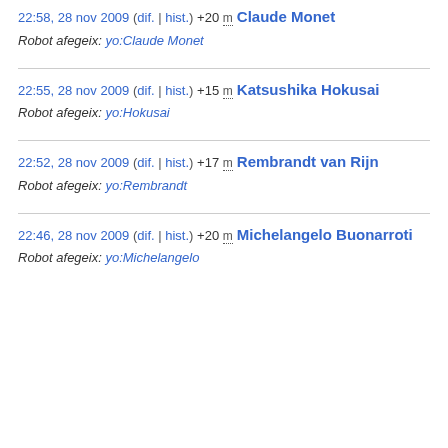22:58, 28 nov 2009 (dif. | hist.) +20 m Claude Monet
Robot afegeix: yo:Claude Monet
22:55, 28 nov 2009 (dif. | hist.) +15 m Katsushika Hokusai
Robot afegeix: yo:Hokusai
22:52, 28 nov 2009 (dif. | hist.) +17 m Rembrandt van Rijn
Robot afegeix: yo:Rembrandt
22:46, 28 nov 2009 (dif. | hist.) +20 m Michelangelo Buonarroti
Robot afegeix: yo:Michelangelo